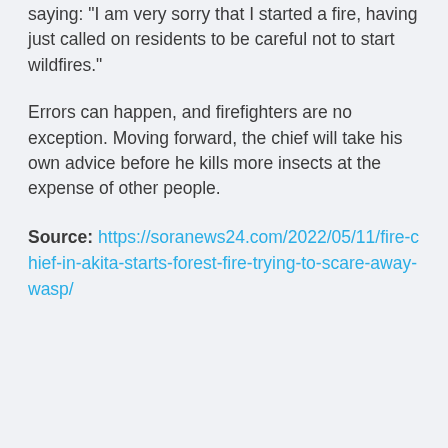saying: "I am very sorry that I started a fire, having just called on residents to be careful not to start wildfires."
Errors can happen, and firefighters are no exception. Moving forward, the chief will take his own advice before he kills more insects at the expense of other people.
Source: https://soranews24.com/2022/05/11/fire-chief-in-akita-starts-forest-fire-trying-to-scare-away-wasp/